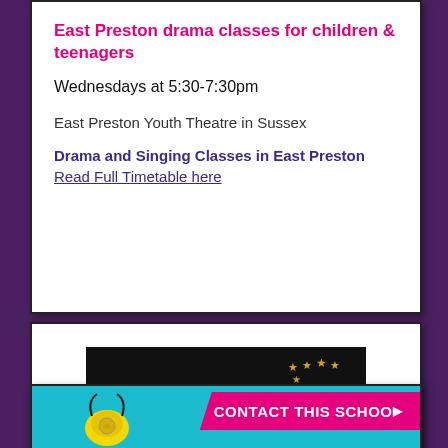East Preston drama classes for children & teenagers
Wednesdays at 5:30-7:30pm
East Preston Youth Theatre in Sussex
Drama and Singing Classes in East Preston
Read Full Timetable here
[Figure (logo): Sussex Youth Theatre logo on black background with gold stars. Tagline: Learn Professional Skills from Skilled Professionals]
[Figure (infographic): Teal/cyan background card with yellow telephone icon on left and pink 'CONTACT THIS SCHOOL' button on right]